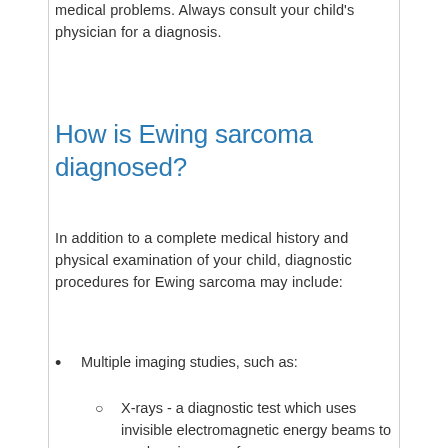medical problems. Always consult your child's physician for a diagnosis.
How is Ewing sarcoma diagnosed?
In addition to a complete medical history and physical examination of your child, diagnostic procedures for Ewing sarcoma may include:
Multiple imaging studies, such as:
X-rays - a diagnostic test which uses invisible electromagnetic energy beams to produce images of